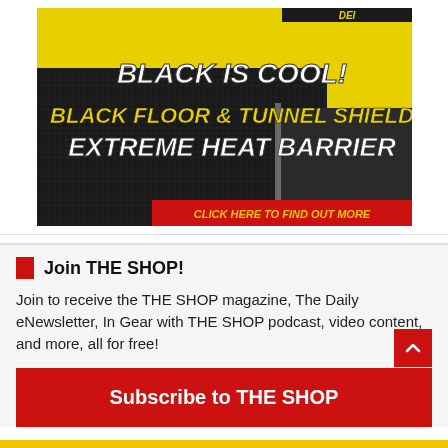[Figure (advertisement): Design Engineering Inc. advertisement for Black Floor & Tunnel Shield Extreme Heat Barrier. Yellow background with bold white and yellow text reading 'BLACK IS COOL! BLACK FLOOR & TUNNEL SHIELD EXTREME HEAT BARRIER'. Dark textured heat barrier material shown. Bottom right has red banner: 'CLICK HERE TO FIND OUT MORE'.]
Join THE SHOP!
Join to receive the THE SHOP magazine, The Daily eNewsletter, In Gear with THE SHOP podcast, video content, and more, all for free!
Subscribe to THE SHOP